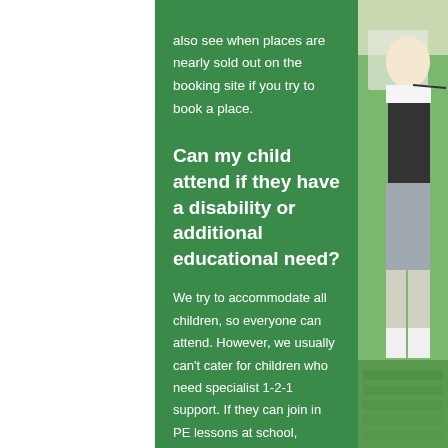also see when places are nearly sold out on the booking site if you try to book a place.
Can my child attend if they have a disability or additional educational need?
We try to accommodate all children, so everyone can attend. However, we usually can't cater for children who need specialist 1-2-1 support. If they can join in PE lessons at school, without constant supervision or assistance, then they are fine to attend. A full refund will be offered if you book them in and we cannot support them effectively to ensure all children are safe and happy.
[Figure (photo): A young girl with blonde hair in a ponytail wearing a white top and camouflage leggings, playing golf on a grass field.]